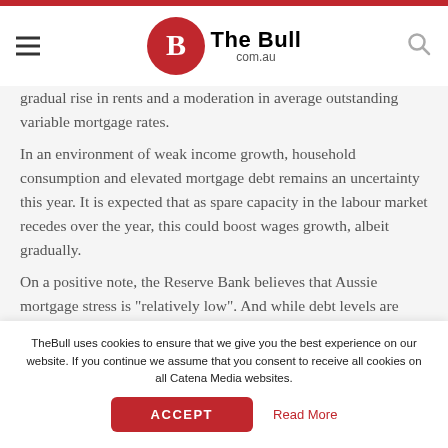The Bull com.au
gradual rise in rents and a moderation in average outstanding variable mortgage rates. In an environment of weak income growth, household consumption and elevated mortgage debt remains an uncertainty this year. It is expected that as spare capacity in the labour market recedes over the year, this could boost wages growth, albeit gradually. On a positive note, the Reserve Bank believes that Aussie mortgage stress is "relatively low". And while debt levels are high, the number of owner-occupiers currently experiencing
TheBull uses cookies to ensure that we give you the best experience on our website. If you continue we assume that you consent to receive all cookies on all Catena Media websites.